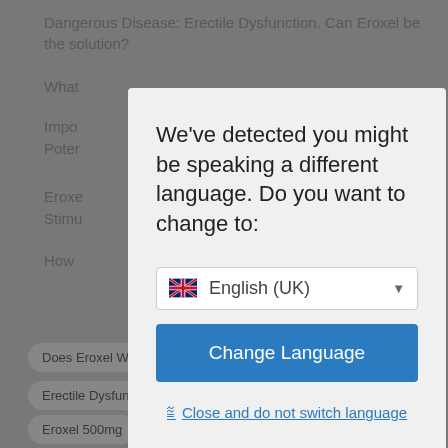Dangerous Disease: Erectile Dysfunction. Can Eroxel be the solution?
What
Impo
Poter
Eroxel
Stimu
How
ETIC
Does Eroxel Work
Erectile Dysfunction
Erectile Dysfunction Self Healing
Eroxel 30 Capsules
Eroxel 500mg
Eroxel 520mg
Eroxel Cápsula
[Figure (screenshot): Language selection modal dialog with 'We've detected you might be speaking a different language. Do you want to change to:' heading, English (UK) dropdown, Change Language button, and close link.]
We've detected you might be speaking a different language. Do you want to change to:
English (UK)
Change Language
Close and do not switch language